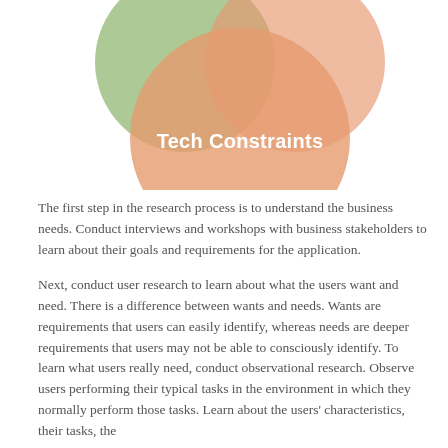[Figure (infographic): Venn diagram with three overlapping circles. Top-left circle is green/sage color, top-right circle is orange/salmon color, and the bottom center large circle is peach/salmon color labeled 'Tech Constraints' in white bold text.]
The first step in the research process is to understand the business needs. Conduct interviews and workshops with business stakeholders to learn about their goals and requirements for the application.
Next, conduct user research to learn about what the users want and need. There is a difference between wants and needs. Wants are requirements that users can easily identify, whereas needs are deeper requirements that users may not be able to consciously identify. To learn what users really need, conduct observational research. Observe users performing their typical tasks in the environment in which they normally perform those tasks. Learn about the users' characteristics, their tasks, the